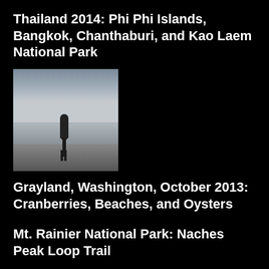Thailand 2014: Phi Phi Islands, Bangkok, Chanthaburi, and Kao Laem National Park
[Figure (photo): Silhouette of a person standing on a beach with overcast sky and water in the background]
Grayland, Washington, October 2013: Cranberries, Beaches, and Oysters
[Figure (photo): Snow-capped mountain with evergreen trees in foreground under blue sky]
Mt. Rainier National Park: Naches Peak Loop Trail
[Figure (photo): Mountain view with lavender or wildflower field in foreground]